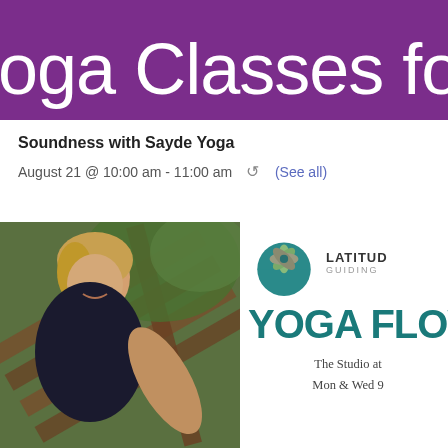[Figure (illustration): Purple banner header with white text reading 'oga Classes for Every B' (partially cropped)]
Soundness with Sayde Yoga
August 21 @ 10:00 am - 11:00 am  ↺  (See all)
[Figure (photo): A smiling blonde woman in a dark sleeveless top sitting outdoors on wooden stairs with green foliage in the background]
[Figure (logo): Latitude Guiding logo: circular teal emblem with leaf/flower design, text 'LATITUD GUIDING' to the right]
YOGA FLOW
The Studio at
Mon & Wed 9